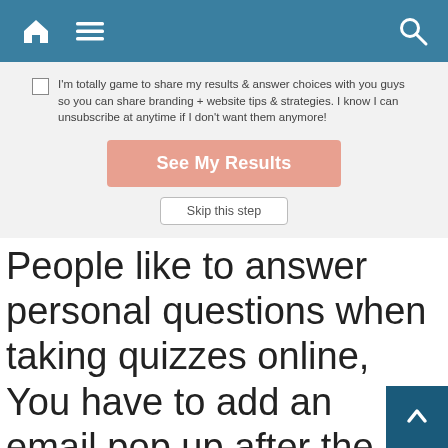[Figure (screenshot): Mobile website navigation bar with home icon, hamburger menu icon, and search icon on blue background]
[Figure (screenshot): Quiz opt-in form with checkbox and text 'I'm totally game to share my results & answer choices with you guys so you can share branding + website tips & strategies. I know I can unsubscribe at anytime if I don't want them anymore!', a salmon-colored 'See My Results' button, and a 'Skip this step' button]
People like to answer personal questions when taking quizzes online, and it is the only the best way to build trust with someone you don't know who is taking your quiz.
You have to add an email pop up after the quiz question and before the results. This is a great